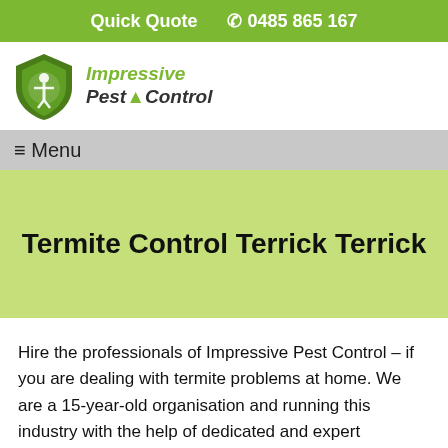Quick Quote   ☎ 0485 865 167
[Figure (logo): Impressive Pest Control logo with green shield icon containing a pest silhouette, and stylized italic text reading Impressive Pest Control]
≡ Menu
Termite Control Terrick Terrick
Hire the professionals of Impressive Pest Control – if you are dealing with termite problems at home. We are a 15-year-old organisation and running this industry with the help of dedicated and expert technicians. Termite